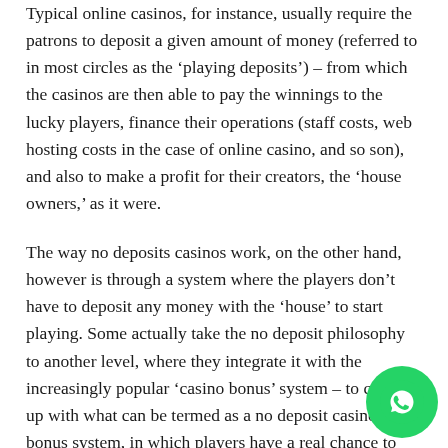Typical online casinos, for instance, usually require the patrons to deposit a given amount of money (referred to in most circles as the ‘playing deposits’) – from which the casinos are then able to pay the winnings to the lucky players, finance their operations (staff costs, web hosting costs in the case of online casino, and so son), and also to make a profit for their creators, the ‘house owners,’ as it were.
The way no deposits casinos work, on the other hand, however is through a system where the players don’t have to deposit any money with the ‘house’ to start playing. Some actually take the no deposit philosophy to another level, where they integrate it with the increasingly popular ‘casino bonus’ system – to come up with what can be termed as a no deposit casino bonus system, in which players have a real chance to get real money out of their playing without having to put anything (besides their effort and time really) into the ‘house.’
[Figure (other): WhatsApp contact button (green circular icon with phone handset symbol)]